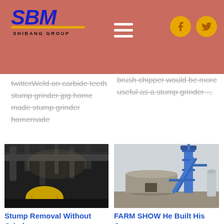[Figure (logo): SBM Shibang Group logo with blue italic text and yellow underline]
[Figure (infographic): Hamburger menu icon (three white horizontal bars)]
[Figure (infographic): Facebook and Twitter social media icons in yellow circles]
twitterWeld on carbide teeth stump grinder jpg home made stump grinder homemade
brush chipper would be more useful as a stump grinder ...
[Figure (photo): Industrial machinery interior with pipes and large yellow mechanical component on floor]
Stump Removal Without Grinders
[Figure (photo): Outdoor industrial plant with blue tower structure, round building, and silos]
FARM SHOW He Built His Own